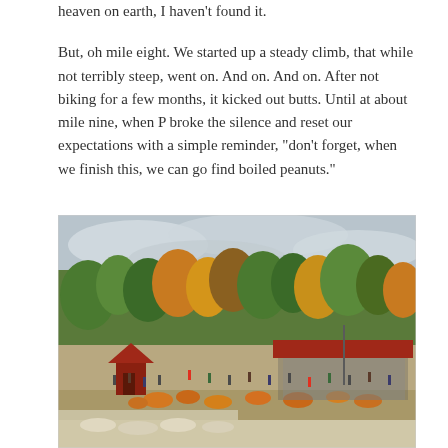heaven on earth, I haven't found it.
But, oh mile eight. We started up a steady climb, that while not terribly steep, went on. And on. And on. After not biking for a few months, it kicked out butts. Until at about mile nine, when P broke the silence and reset our expectations with a simple reminder, "don't forget, when we finish this, we can go find boiled peanuts."
[Figure (photo): Outdoor autumn scene at a pumpkin farm or festival. Crowds of people browse rows of pumpkins and white gourds spread across a field. Large open-sided barn structure with red roof on the right, small red building on the left. Background filled with trees showing fall foliage in orange, yellow, and green under a cloudy sky.]